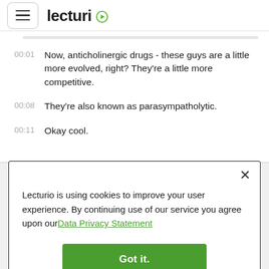[Figure (logo): Lecturio logo with hamburger menu button on the left and 'lecturio' text with green play button icon on the right]
00:01  Now, anticholinergic drugs - these guys are a little more evolved, right? They're a little more competitive.
00:08  They're also known as parasympatholytic.
00:11  Okay cool.
Lecturio is using cookies to improve your user experience. By continuing use of our service you agree upon our Data Privacy Statement
Got it.